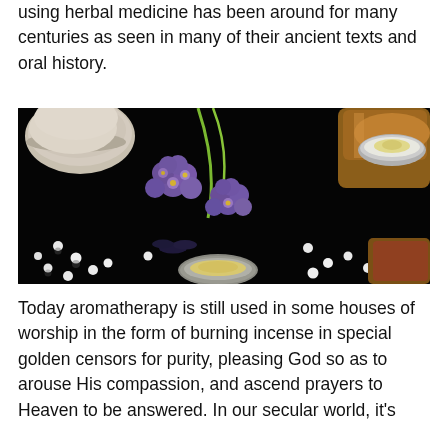using herbal medicine has been around for many centuries as seen in many of their ancient texts and oral history.
[Figure (photo): A dark background photograph showing purple lavender flowers with small white homeopathic pills scattered around, alongside amber glass bottles and small open cream/salve containers.]
Today aromatherapy is still used in some houses of worship in the form of burning incense in special golden censors for purity, pleasing God so as to arouse His compassion, and ascend prayers to Heaven to be answered. In our secular world, it's